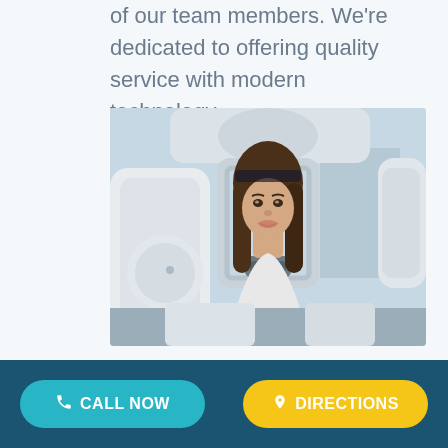of our team members. We're dedicated to offering quality service with modern technology.
[Figure (photo): Woman undergoing dental panoramic X-ray scan, positioned in a modern dental imaging machine in a clinical setting]
CALL NOW   DIRECTIONS